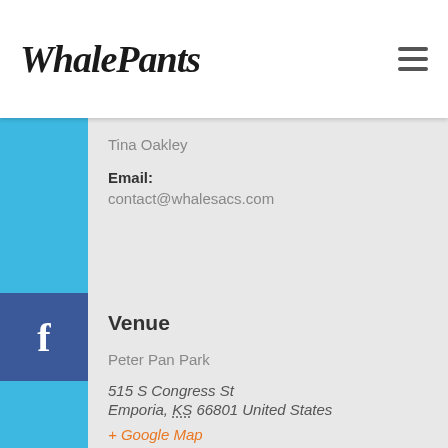WhalePants
Tina Oakley
Email: contact@whalesacs.com
Venue
Peter Pan Park
515 S Congress St
Emporia, KS 66801 United States
+ Google Map
Website:
https://www.dgcoursereview.com/course.php?id=1677